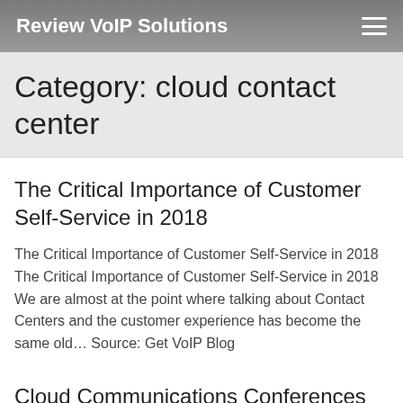Review VoIP Solutions
Category: cloud contact center
The Critical Importance of Customer Self-Service in 2018
The Critical Importance of Customer Self-Service in 2018 The Critical Importance of Customer Self-Service in 2018 We are almost at the point where talking about Contact Centers and the customer experience has become the same old… Source: Get VoIP Blog
Cloud Communications Conferences To Look Out For in 2018